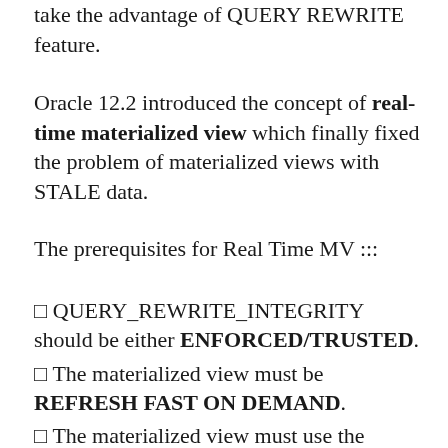... STALE_TOLERATED, there will be no way to take the advantage of QUERY REWRITE feature.
Oracle 12.2 introduced the concept of real-time materialized view which finally fixed the problem of materialized views with STALE data.
The prerequisites for Real Time MV :::
□ QUERY_REWRITE_INTEGRITY should be either ENFORCED/TRUSTED.
□ The materialized view must be REFRESH FAST ON DEMAND.
□ The materialized view must use the ENABLE ON QUERY COMPUTATION clause.